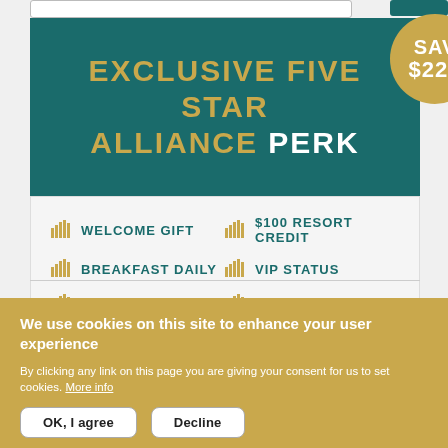EXCLUSIVE FIVE STAR ALLIANCE PERK
WELCOME GIFT
$100 RESORT CREDIT
BREAKFAST DAILY
VIP STATUS
WIFI
UPGRADE
LEARN MORE >
We use cookies on this site to enhance your user experience
By clicking any link on this page you are giving your consent for us to set cookies. More info
OK, I agree
Decline